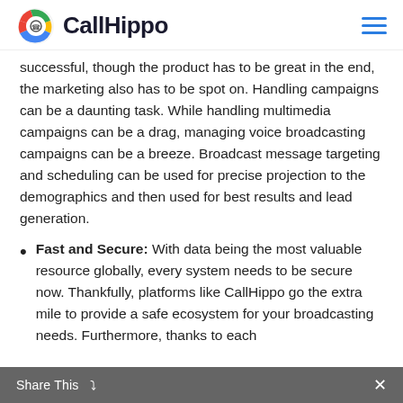CallHippo
successful, though the product has to be great in the end, the marketing also has to be spot on. Handling campaigns can be a daunting task. While handling multimedia campaigns can be a drag, managing voice broadcasting campaigns can be a breeze. Broadcast message targeting and scheduling can be used for precise projection to the demographics and then used for best results and lead generation.
Fast and Secure: With data being the most valuable resource globally, every system needs to be secure now. Thankfully, platforms like CallHippo go the extra mile to provide a safe ecosystem for your broadcasting needs. Furthermore, thanks to each
Share This ✕